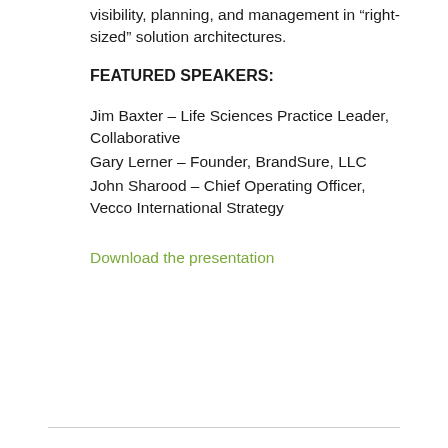visibility, planning, and management in “right-sized” solution architectures.
FEATURED SPEAKERS:
Jim Baxter – Life Sciences Practice Leader, Collaborative
Gary Lerner – Founder, BrandSure, LLC
John Sharood – Chief Operating Officer, Vecco International Strategy
Download the presentation